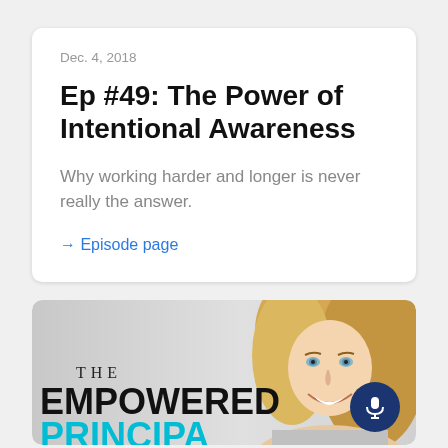Dec. 4, 2018
Ep #49: The Power of Intentional Awareness
Why working harder and longer is never really the answer.
→ Episode page
[Figure (illustration): Podcast cover art for 'The Empowered Principal' showing a blonde woman smiling, with text 'THE EMPOWERED PRINCIPAL' in black and teal. A navy blue microphone button appears in bottom right corner.]